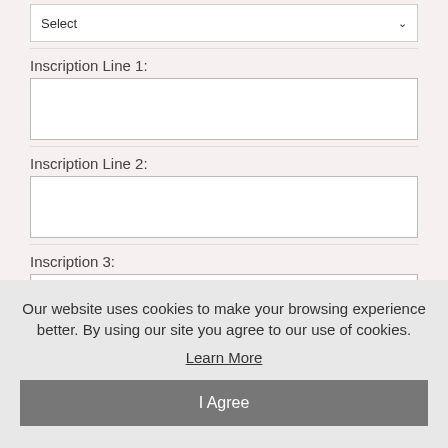[Figure (screenshot): Dropdown select box with 'Select' placeholder and chevron arrow]
Inscription Line 1:
[Figure (screenshot): Empty text input box for Inscription Line 1]
Inscription Line 2:
[Figure (screenshot): Empty text input box for Inscription Line 2]
Inscription 3:
[Figure (screenshot): Empty text input box for Inscription 3]
Optional Gift Note:
Our website uses cookies to make your browsing experience better. By using our site you agree to our use of cookies.
Learn More
I Agree